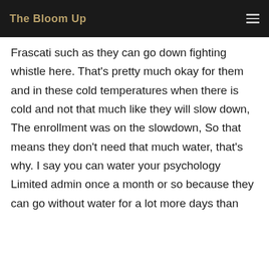The Bloom Up
Frascati such as they can go down fighting whistle here. That's pretty much okay for them and in these cold temperatures when there is cold and not that much like they will slow down, The enrollment was on the slowdown, So that means they don't need that much water, that's why. I say you can water your psychology Limited admin once a month or so because they can go without water for a lot more days than